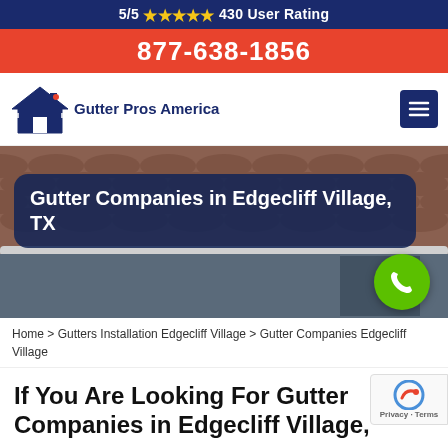5/5 ★★★★★ 430 User Rating
877-638-1856
[Figure (logo): Gutter Pros America logo with house/roof icon and company name]
Gutter Companies in Edgecliff Village, TX
Home > Gutters Installation Edgecliff Village > Gutter Companies Edgecliff Village
If You Are Looking For Gutter Companies in Edgecliff Village,